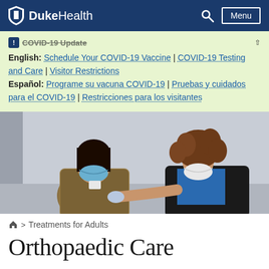DukeHealth — navigation bar with search and menu
COVID-19 Update
English: Schedule Your COVID-19 Vaccine | COVID-19 Testing and Care | Visitor Restrictions
Español: Programe su vacuna COVID-19 | Pruebas y cuidados para el COVID-19 | Restricciones para los visitantes
[Figure (photo): Two women wearing face masks facing each other; one appears to be administering a vaccine or treatment to the other's arm. Clinical setting.]
🏠 > Treatments for Adults
Orthopaedic Care